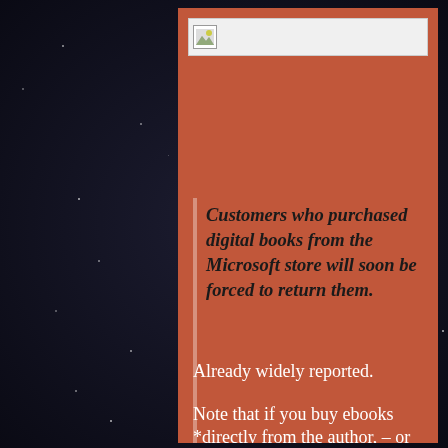[Figure (illustration): Broken/placeholder image icon at the top of the card]
Customers who purchased digital books from the Microsoft store will soon be forced to return them.
Already widely reported.
Note that if you buy ebooks *directly from the author, – or